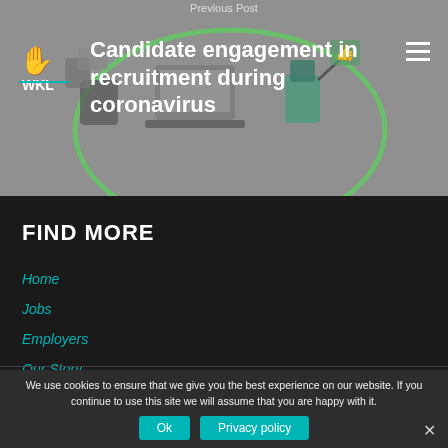Previous Post
Candidate engagement in recruitment during coronavirus
[Figure (illustration): WKL logo with yellow hand/star symbol and teal circle, plus illustration of cartoon figures holding signs]
FIND MORE
Home
Jobs
Employers
Our Story
We use cookies to ensure that we give you the best experience on our website. If you continue to use this site we will assume that you are happy with it.
Ok
Privacy policy